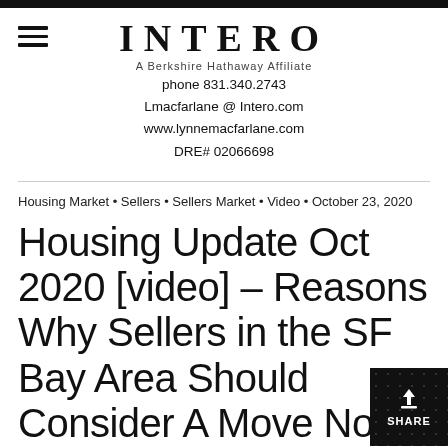INTERO
A Berkshire Hathaway Affiliate
phone 831.340.2743
Lmacfarlane @ Intero.com
www.lynnemacfarlane.com
DRE# 02066698
Housing Market • Sellers • Sellers Market • Video • October 23, 2020
Housing Update Oct 2020 [video] – Reasons Why Sellers in the SF Bay Area Should Consider A Move No...